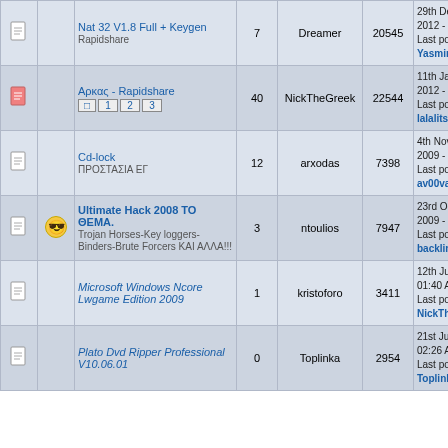|  |  | Topic | Replies | Author | Views | Last Post |
| --- | --- | --- | --- | --- | --- | --- |
| [doc] |  | Nat 32 V1.8 Full + Keygen
Rapidshare | 7 | Dreamer | 20545 | 29th December 2012 - 09:38 AM
Last post by: YasmineCave |
| [doc] |  | Αρκας - Rapidshare [pages 1 2 3] | 40 | NickTheGreek | 22544 | 11th January 2012 - 02:40 AM
Last post by: lalalitsas |
| [doc] |  | Cd-lock
ΠΡΟΣΤΑΣΙΑ ΕΓ | 12 | arxodas | 7398 | 4th November 2009 - 03:03 AM
Last post by: av00va |
| [doc] | [smiley] | Ultimate Hack 2008 ΤΟ ΘΕΜΑ.
Trojan Horses-Key loggers-Binders-Brute Forcers ΚΑΙ ΑΛΛΑ!!! | 3 | ntoulios | 7947 | 23rd October 2009 - 06:29 AM
Last post by: backlinkhunterz |
| [doc] |  | Microsoft Windows Ncore Lwgame Edition 2009 | 1 | kristoforo | 3411 | 12th July 2009 - 01:40 AM
Last post by: NickTheGreek |
| [doc] |  | Plato Dvd Ripper Professional V10.06.01 | 0 | Toplinka | 2954 | 21st June 2009 - 02:26 AM
Last post by: Toplinka |